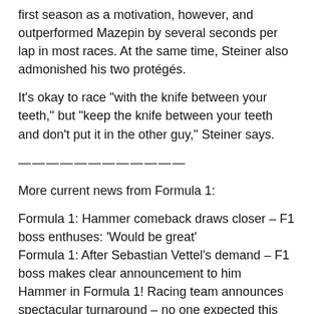first season as a motivation, however, and outperformed Mazepin by several seconds per lap in most races. At the same time, Steiner also admonished his two protégés.
It's okay to race "with the knife between your teeth," but "keep the knife between your teeth and don't put it in the other guy," Steiner says.
————————————
More current news from Formula 1:
Formula 1: Hammer comeback draws closer – F1 boss enthuses: 'Would be great'
Formula 1: After Sebastian Vettel's demand – F1 boss makes clear announcement to him
Hammer in Formula 1! Racing team announces spectacular turnaround – no one expected this
————————————
That there will always be friction, he says, is normal. "That's